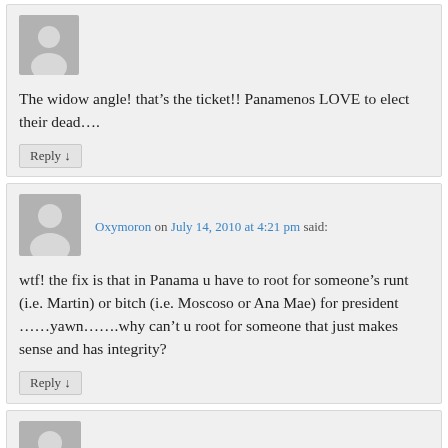[Figure (illustration): Grey avatar placeholder icon of a person silhouette]
The widow angle! that’s the ticket!! Panamenos LOVE to elect their dead….
Reply ↓
[Figure (illustration): Grey avatar placeholder icon of a person silhouette]
Oxymoron on July 14, 2010 at 4:21 pm said:
wtf! the fix is that in Panama u have to root for someone’s runt (i.e. Martin) or bitch (i.e. Moscoso or Ana Mae) for president ……yawn…….why can’t u root for someone that just makes sense and has integrity?
Reply ↓
[Figure (illustration): Grey avatar placeholder icon of a person silhouette]
frombocas on July 14, 2010 at 7:36 pm said: